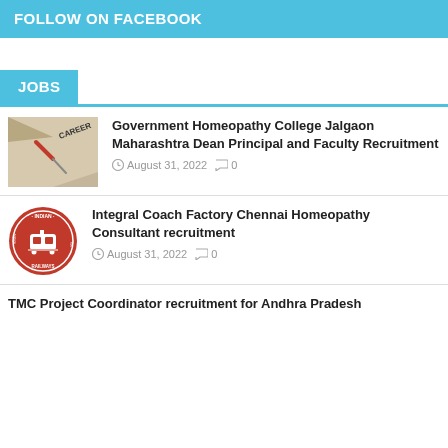FOLLOW ON FACEBOOK
JOBS
[Figure (photo): Compass pointing to the word CAREER on a paper background]
Government Homeopathy College Jalgaon Maharashtra Dean Principal and Faculty Recruitment
August 31, 2022  0
[Figure (logo): Indian Railways circular logo in red with train image]
Integral Coach Factory Chennai Homeopathy Consultant recruitment
August 31, 2022  0
TMC Project Coordinator recruitment for Andhra Pradesh